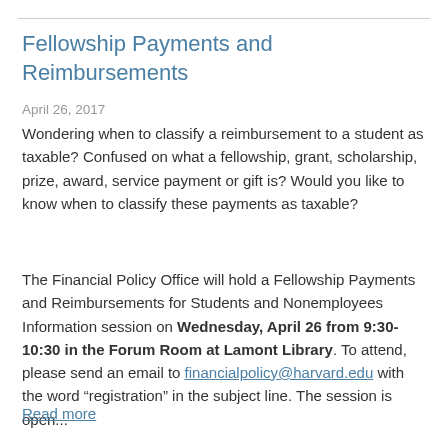Fellowship Payments and Reimbursements
April 26, 2017
Wondering when to classify a reimbursement to a student as taxable? Confused on what a fellowship, grant, scholarship, prize, award, service payment or gift is? Would you like to know when to classify these payments as taxable?
The Financial Policy Office will hold a Fellowship Payments and Reimbursements for Students and Nonemployees Information session on Wednesday, April 26 from 9:30-10:30 in the Forum Room at Lamont Library. To attend, please send an email to financialpolicy@harvard.edu with the word “registration” in the subject line. The session is open...
Read more